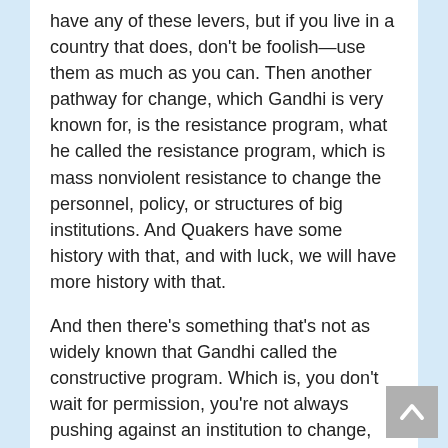have any of these levers, but if you live in a country that does, don't be foolish—use them as much as you can. Then another pathway for change, which Gandhi is very known for, is the resistance program, what he called the resistance program, which is mass nonviolent resistance to change the personnel, policy, or structures of big institutions. And Quakers have some history with that, and with luck, we will have more history with that.
And then there's something that's not as widely known that Gandhi called the constructive program. Which is, you don't wait for permission, you're not always pushing against an institution to change, you work with your neighbors. and you create alternative institutions. And I work a lot, and I can talk more with people. We had a workshop on the transition town movement, but that's basically organizing at the local scale, with your neighbors, to move from a fierce dependence on fossil fuels. and a whole way of life